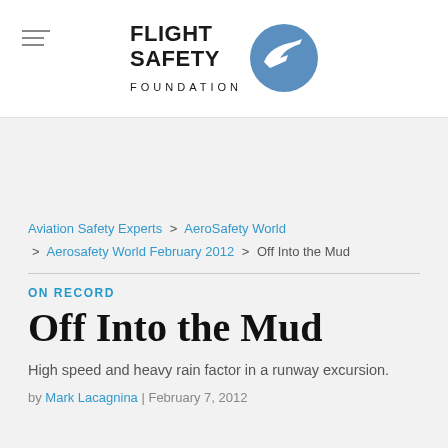[Figure (logo): Flight Safety Foundation logo with bold text FLIGHT SAFETY and FOUNDATION in letter-spaced caps, alongside a blue circle with a white aircraft silhouette]
Aviation Safety Experts > AeroSafety World > Aerosafety World February 2012 > Off Into the Mud
ON RECORD
Off Into the Mud
High speed and heavy rain factor in a runway excursion.
by Mark Lacagnina | February 7, 2012